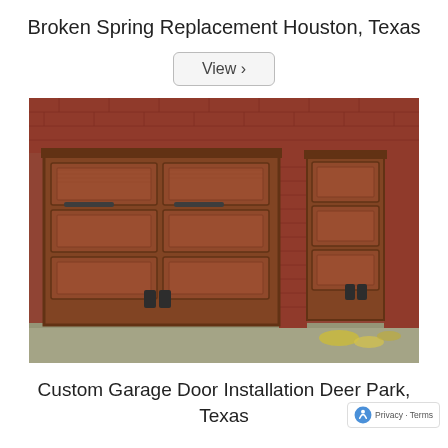Broken Spring Replacement Houston, Texas
View >
[Figure (photo): Two brown wood-grain panel garage doors installed on a red brick house exterior. The left door is a double-wide unit with decorative black hardware handles, and the right is a single-wide unit. Construction debris visible on the ground.]
Custom Garage Door Installation Deer Park, Texas